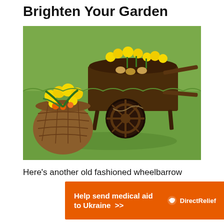Brighten Your Garden
[Figure (photo): A rustic old wooden wheelbarrow filled with daffodils and spring bulbs/plants, placed on a grass lawn. Next to it sits a wicker basket also full of yellow daffodils and small orange flowers.]
Here's another old fashioned wheelbarrow
[Figure (infographic): Advertisement banner: orange background with white bold text 'Help send medical aid to Ukraine >>' and Direct Relief logo with white bird icon and 'DirectRelief' text.]